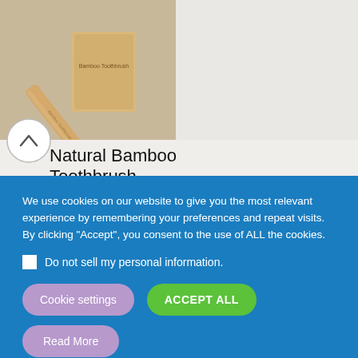[Figure (photo): Bamboo toothbrush product image on beige/tan background]
Natural Bamboo Toothbrush
CHF4.30 incl. Tax
We use cookies on our website to give you the most relevant experience by remembering your preferences and repeat visits. By clicking “Accept”, you consent to the use of ALL the cookies.
Do not sell my personal information.
Cookie settings
ACCEPT ALL
Read More